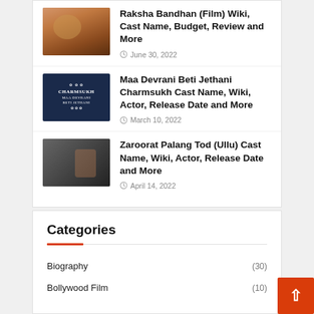[Figure (photo): Thumbnail image for Raksha Bandhan film article]
Raksha Bandhan (Film) Wiki, Cast Name, Budget, Review and More
June 30, 2022
[Figure (photo): Thumbnail image for Charmsukh Maa Devrani Beti Jethani article, dark blue background with text]
Maa Devrani Beti Jethani Charmsukh Cast Name, Wiki, Actor, Release Date and More
March 10, 2022
[Figure (photo): Thumbnail image for Zaroorat Palang Tod (Ullu) article showing two people]
Zaroorat Palang Tod (Ullu) Cast Name, Wiki, Actor, Release Date and More
April 14, 2022
Categories
Biography (30)
Bollywood Film (10)